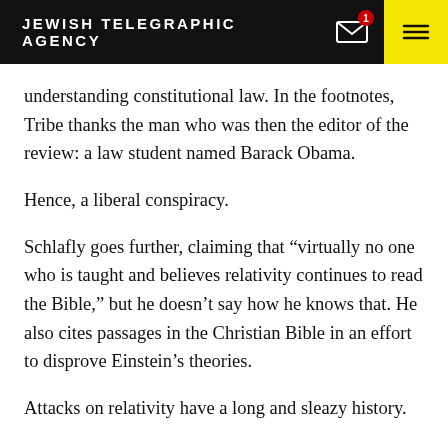JEWISH TELEGRAPHIC AGENCY
understanding constitutional law. In the footnotes, Tribe thanks the man who was then the editor of the review: a law student named Barack Obama.
Hence, a liberal conspiracy.
Schlafly goes further, claiming that “virtually no one who is taught and believes relativity continues to read the Bible,” but he doesn’t say how he knows that. He also cites passages in the Christian Bible in an effort to disprove Einstein’s theories.
Attacks on relativity have a long and sleazy history.